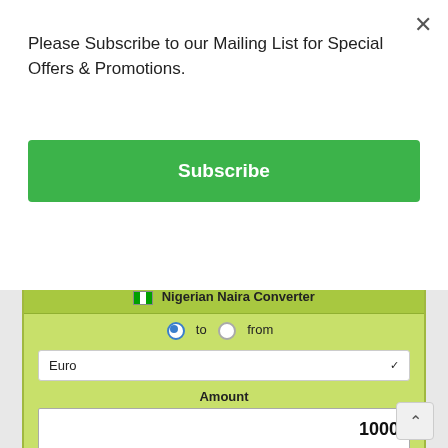Please Subscribe to our Mailing List for Special Offers & Promotions.
Subscribe
Currency Converter
[Figure (screenshot): Nigerian Naira Converter widget with radio buttons 'to' (selected) and 'from', a dropdown set to 'Euro', an Amount input showing 1000, a Euros (EUR) output showing 2.36, and a rates note reading 'Rates on 19 Aug 2022'.]